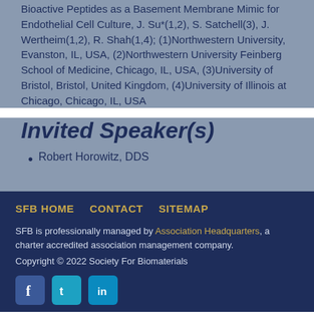Bioactive Peptides as a Basement Membrane Mimic for Endothelial Cell Culture, J. Su*(1,2), S. Satchell(3), J. Wertheim(1,2), R. Shah(1,4); (1)Northwestern University, Evanston, IL, USA, (2)Northwestern University Feinberg School of Medicine, Chicago, IL, USA, (3)University of Bristol, Bristol, United Kingdom, (4)University of Illinois at Chicago, Chicago, IL, USA
Invited Speaker(s)
Robert Horowitz, DDS
SFB HOME   CONTACT   SITEMAP
SFB is professionally managed by Association Headquarters, a charter accredited association management company.
Copyright © 2022 Society For Biomaterials